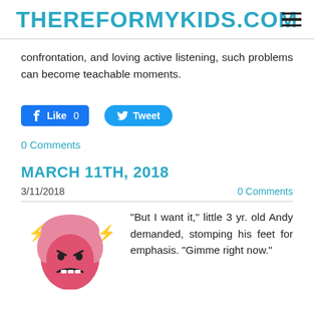THEREFORMYKIDS.COM
confrontation, and loving active listening, such problems can become teachable moments.
[Figure (other): Facebook Like button (0 likes) and Twitter Tweet button]
0 Comments
MARCH 11TH, 2018
3/11/2018
0 Comments
[Figure (illustration): Cartoon of an angry child with pink hair, clenched fists, red face, with lightning bolt symbols indicating rage]
“But I want it,” little 3 yr. old Andy demanded, stomping his feet for emphasis. “Gimme right now.”